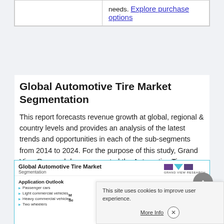|  |  |
| --- | --- |
|  | needs. Explore purchase options |
Global Automotive Tire Market Segmentation
This report forecasts revenue growth at global, regional & country levels and provides an analysis of the latest trends and opportunities in each of the sub-segments from 2014 to 2024. For the purpose of this study, Grand View Research has segmented the Automotive Tire market on the basis of application, end-use, and region.
[Figure (infographic): Global Automotive Tire Market segmentation diagram showing Application Outlook (Passenger cars, Light commercial vehicles, Heavy commercial vehicles, Two wheelers), a central arc graphic, and Regional Outlook section. Grand View Research logo in top right. Partially obscured by cookie consent banner and back-to-top button.]
This site uses cookies to improve user experience.
More Info